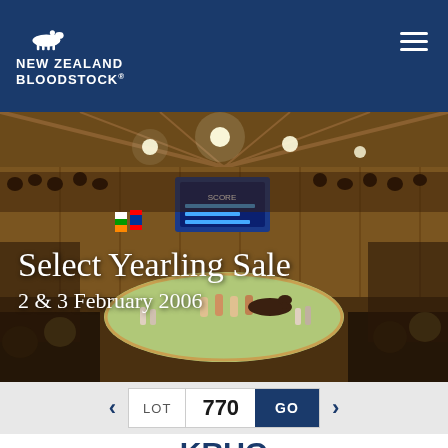[Figure (logo): New Zealand Bloodstock logo with horse silhouette and text on dark blue background]
[Figure (photo): Interior of a horse auction arena filled with spectators, with a horse being auctioned in the centre ring under warm lighting]
Select Yearling Sale
2 & 3 February 2006
LOT 770 GO
KRUG
Account of ESKER LODGE, Cambridge (As Agent).
LOT 770
Foaled 11th October 2004